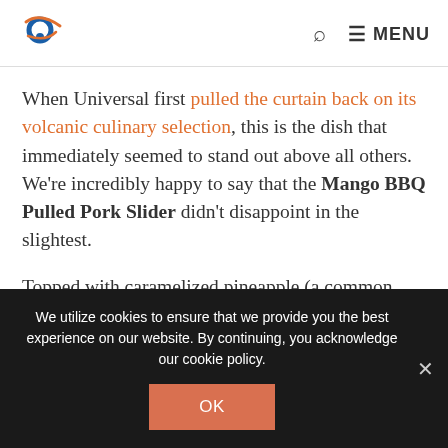[Logo] Q ≡ MENU
When Universal first pulled the curtain back on its volcanic culinary selection, this is the dish that immediately seemed to stand out above all others. We're incredibly happy to say that the Mango BBQ Pulled Pork Slider didn't disappoint in the slightest.
Topped with caramelized pineapple (a common ingredient in almost every single dish) and fresh cabbage and mango slaw – and then placed on a toasted King's Hawaiian roll – the flavors are all well balanced, with none particularly
We utilize cookies to ensure that we provide you the best experience on our website. By continuing, you acknowledge our cookie policy.
OK